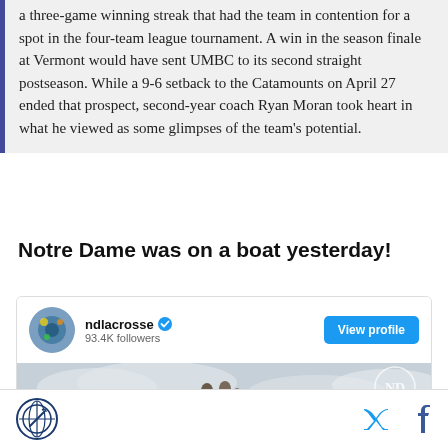a three-game winning streak that had the team in contention for a spot in the four-team league tournament. A win in the season finale at Vermont would have sent UMBC to its second straight postseason. While a 9-6 setback to the Catamounts on April 27 ended that prospect, second-year coach Ryan Moran took heart in what he viewed as some glimpses of the team's potential.
Notre Dame was on a boat yesterday!
[Figure (screenshot): Social media card for ndlacrosse with 93.4K followers, showing a View profile button and a photo of people on a boat with Notre Dame logo]
Footer with site logo, Twitter icon, and Facebook icon